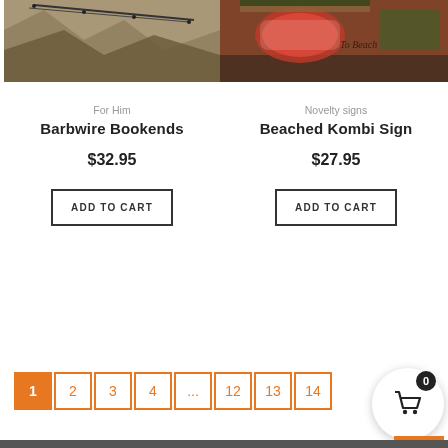[Figure (photo): Product photo of Barbwire Bookends - stone/rock texture with barbwire]
[Figure (photo): Product photo of Beached Kombi Sign - wooden sign with retro VW Kombi van and 'Welcome To Beach' text]
For Him
Barbwire Bookends
$32.95
ADD TO CART
Novelty signs
Beached Kombi Sign
$27.95
ADD TO CART
1
2
3
4
...
12
13
14